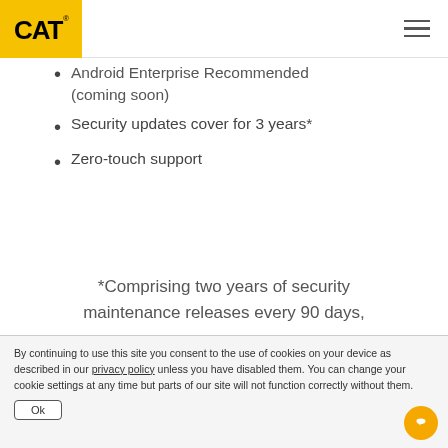CAT logo and navigation menu
Android Enterprise Recommended (coming soon)
Security updates cover for 3 years*
Zero-touch support
*Comprising two years of security maintenance releases every 90 days,
By continuing to use this site you consent to the use of cookies on your device as described in our privacy policy unless you have disabled them. You can change your cookie settings at any time but parts of our site will not function correctly without them.